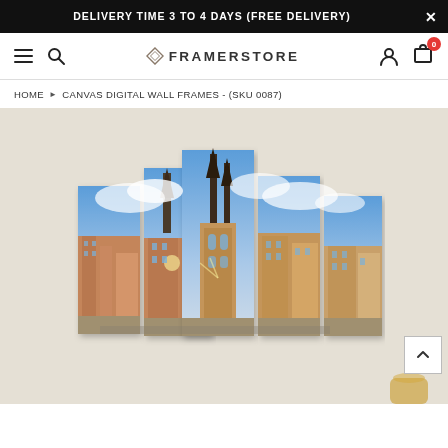DELIVERY TIME 3 TO 4 DAYS (FREE DELIVERY)
[Figure (screenshot): Website navigation bar with hamburger menu, search icon, FRAMERSTORE logo with diamond icon, user icon, and cart with 0 badge]
HOME ▶ CANVAS DIGITAL WALL FRAMES - (SKU 0087)
[Figure (photo): Product photo of a 5-panel canvas wall art set displaying Prague Old Town Square with the Church of Our Lady before Týn, colorful baroque buildings, and dramatic cloudy sky. Panels are arranged in a staggered multi-panel layout on a beige background.]